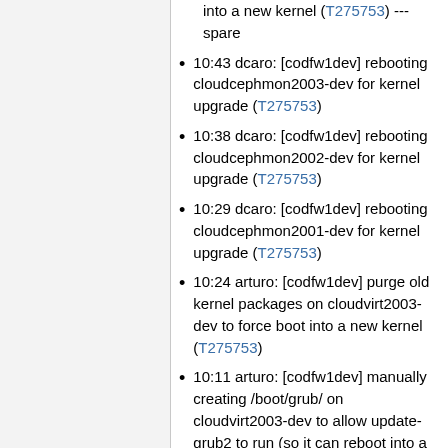into a new kernel (T275753) --- spare
10:43 dcaro: [codfw1dev] rebooting cloudcephmon2003-dev for kernel upgrade (T275753)
10:38 dcaro: [codfw1dev] rebooting cloudcephmon2002-dev for kernel upgrade (T275753)
10:29 dcaro: [codfw1dev] rebooting cloudcephmon2001-dev for kernel upgrade (T275753)
10:24 arturo: [codfw1dev] purge old kernel packages on cloudvirt2003-dev to force boot into a new kernel (T275753)
10:11 arturo: [codfw1dev] manually creating /boot/grub/ on cloudvirt2003-dev to allow update-grub2 to run (so it can reboot into a new kernel) (T275753)
10:11 dcaro: [codfw1dev] rebooting